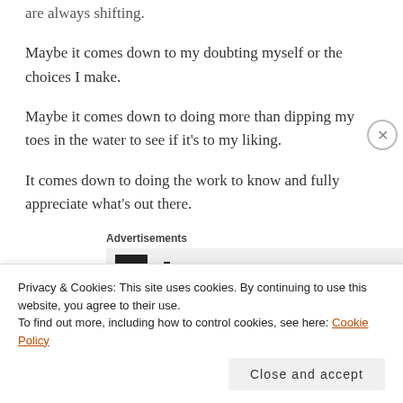are always shifting.
Maybe it comes down to my doubting myself or the choices I make.
Maybe it comes down to doing more than dipping my toes in the water to see if it's to my liking.
It comes down to doing the work to know and fully appreciate what's out there.
Advertisements
[Figure (other): Partial advertisement banner with dark logo shapes visible]
Privacy & Cookies: This site uses cookies. By continuing to use this website, you agree to their use.
To find out more, including how to control cookies, see here: Cookie Policy
Close and accept